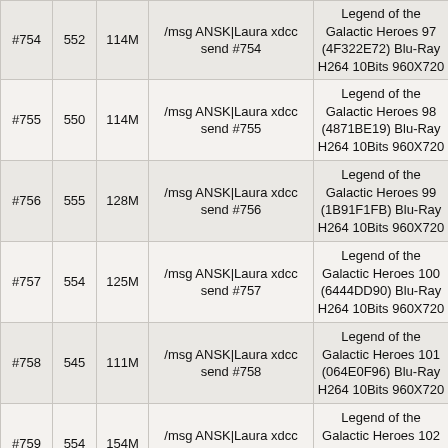| # | Seeds | Size | Command | Description |
| --- | --- | --- | --- | --- |
| #754 | 552 | 114M | /msg ANSK|Laura xdcc send #754 | Legend of the Galactic Heroes 97 (4F322E72) Blu-Ray H264 10Bits 960X720 |
| #755 | 550 | 114M | /msg ANSK|Laura xdcc send #755 | Legend of the Galactic Heroes 98 (4871BE19) Blu-Ray H264 10Bits 960X720 |
| #756 | 555 | 128M | /msg ANSK|Laura xdcc send #756 | Legend of the Galactic Heroes 99 (1B91F1FB) Blu-Ray H264 10Bits 960X720 |
| #757 | 554 | 125M | /msg ANSK|Laura xdcc send #757 | Legend of the Galactic Heroes 100 (6444DD90) Blu-Ray H264 10Bits 960X720 |
| #758 | 545 | 111M | /msg ANSK|Laura xdcc send #758 | Legend of the Galactic Heroes 101 (064E0F96) Blu-Ray H264 10Bits 960X720 |
| #759 | 554 | 154M | /msg ANSK|Laura xdcc send #759 | Legend of the Galactic Heroes 102 (82177979) Blu-Ray H264 10Bits 960X720 |
| #760 | 545 | 120M | /msg ANSK|Laura xdcc send #760 | Legend of the Galactic Heroes 103 (A979EE6C) Blu-Ray H264 10Bits 960X720 |